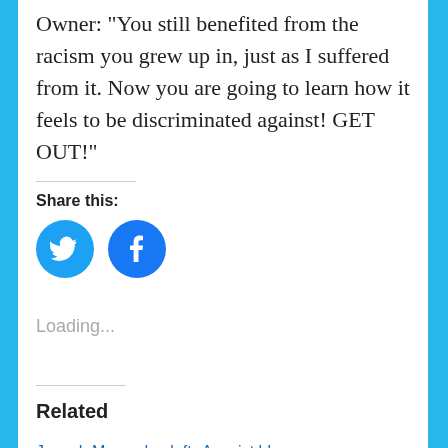Owner: "You still benefited from the racism you grew up in, just as I suffered from it. Now you are going to learn how it feels to be discriminated against!  GET OUT!"
Share this:
[Figure (illustration): Twitter and Facebook share buttons as blue circular icons]
Loading...
Related
Joseph Massad, a left
A racist blog on